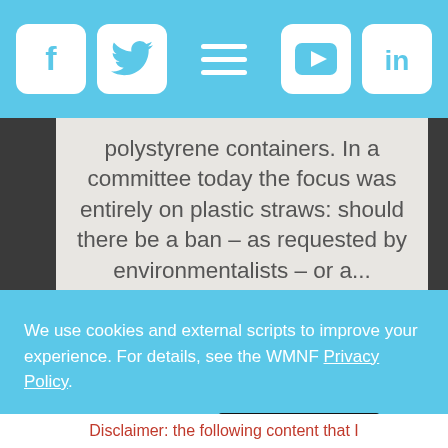[Social media navigation bar with Facebook, Twitter, hamburger menu, YouTube, LinkedIn icons]
polystyrene containers. In a committee today the focus was entirely on plastic straws: should there be a ban – as requested by environmentalists – or a...
Read more »
We use cookies and external scripts to improve your experience. For details, see the WMNF Privacy Policy.
MORE INFORMATION
ACCEPT
Disclaimer: the following content that I